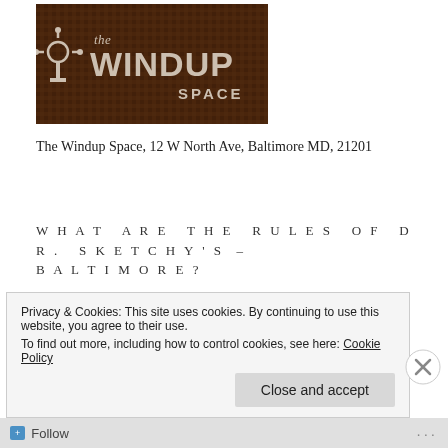[Figure (logo): The Windup Space logo — dark brown/rust background with stylized text reading 'the WINDUP SPACE' with a wind-up key graphic on the left]
The Windup Space, 12 W North Ave, Baltimore MD, 21201
WHAT ARE THE RULES OF DR. SKETCHY'S – BALTIMORE?
1) 18 and over. $12 at the door, $10 if you purchase your
Privacy & Cookies: This site uses cookies. By continuing to use this website, you agree to their use.
To find out more, including how to control cookies, see here: Cookie Policy
Close and accept